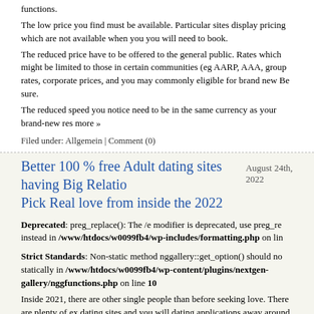functions.
The low price you find must be available. Particular sites display pricing which are not available when you you will need to book.
The reduced price have to be offered to the general public. Rates which might be limited to those in certain communities (eg AARP, AAA, group rates, corporate prices, and you may commonly eligible for brand new Be sure.
The reduced speed you notice need to be in the same currency as your brand-new res more »
Filed under: Allgemein | Comment (0)
Better 100 % free Adult dating sites having Big Relationships Pick Real love from inside the 2022
August 24th, 2022
Deprecated: preg_replace(): The /e modifier is deprecated, use preg_replace instead in /www/htdocs/w0099fb4/wp-includes/formatting.php on lin
Strict Standards: Non-static method nggallery::get_option() should not be called statically in /www/htdocs/w0099fb4/wp-content/plugins/nextgen-gallery/nggfunctions.php on line 10
Inside 2021, there are other single people than before seeking love. There are plenty of excellent dating sites and you will dating applications away around, rendering it feel very easy to sa great. Whatever the the passions is actually, you will find a stunning online dating site tha a quality match.